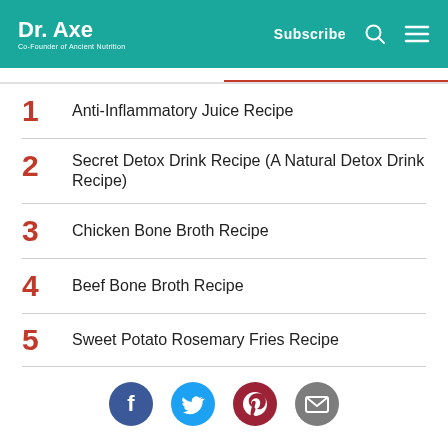Dr. Axe — Co-Founder of Ancient Nutrition | Subscribe
1 Anti-Inflammatory Juice Recipe
2 Secret Detox Drink Recipe (A Natural Detox Drink Recipe)
3 Chicken Bone Broth Recipe
4 Beef Bone Broth Recipe
5 Sweet Potato Rosemary Fries Recipe
[Figure (other): Social sharing icons: Facebook, Twitter, Pinterest, Email]